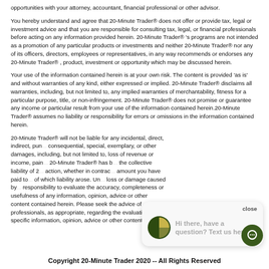opportunities with your attorney, accountant, financial professional or other advisor.
You hereby understand and agree that 20-Minute Trader® does not offer or provide tax, legal or investment advice and that you are responsible for consulting tax, legal, or financial professionals before acting on any information provided herein. 20-Minute Trader® 's programs are not intended as a promotion of any particular products or investments and neither 20-Minute Trader® nor any of its officers, directors, employees or representatives, in any way recommends or endorses any 20-Minute Trader® , product, investment or opportunity which may be discussed herein.
Your use of the information contained herein is at your own risk. The content is provided 'as is' and without warranties of any kind, either expressed or implied. 20-Minute Trader® disclaims all warranties, including, but not limited to, any implied warranties of merchantability, fitness for a particular purpose, title, or non-infringement. 20-Minute Trader® does not promise or guarantee any income or particular result from your use of the information contained herein.20-Minute Trader® assumes no liability or responsibility for errors or omissions in the information contained herein.
20-Minute Trader® will not be liable for any incidental, direct, indirect, pun... consequential, special, exemplary, or other damages, including, but not limited to, loss of revenue or income, pain... 20-Minute Trader® has b... the collective liability of 2... action, whether in contrac... amount you have paid to ... of which liability arose. Un... loss or damage caused by... responsibility to evaluate the accuracy, completeness or usefulness of any information, opinion, advice or other content contained herein. Please seek the advice of professionals, as appropriate, regarding the evaluation of any specific information, opinion, advice or other content.
[Figure (other): Chat widget overlay with close button and text 'Hi there, have a question? Text us here.' with a dark green pie chart icon and a chat bubble button.]
Copyright 20-Minute Trader 2020 -- All Rights Reserved